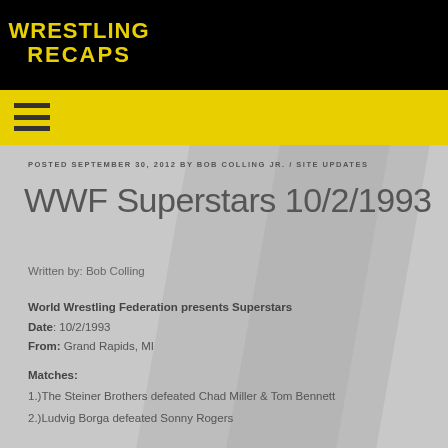Wrestling Recaps
POSTED SEPTEMBER 30, 2012 BY BOB COLLING JR. / SITE UPDATES
WWF Superstars 10/2/1993
Written by: Bob Colling
World Wrestling Federation presents Superstars
Date: 10/2/1993
From: Grand Rapids, MI
Matches:
1.)The Steiner Brothers defeated Chad Miller & Tom Bennett
2.)Ludvig Borga defeated Sonny Rogers